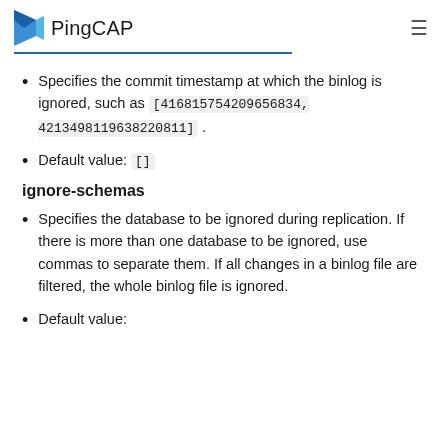PingCAP
Specifies the commit timestamp at which the binlog is ignored, such as [416815754209656834, 4213498119638220811] .
Default value: []
ignore-schemas
Specifies the database to be ignored during replication. If there is more than one database to be ignored, use commas to separate them. If all changes in a binlog file are filtered, the whole binlog file is ignored.
Default value: